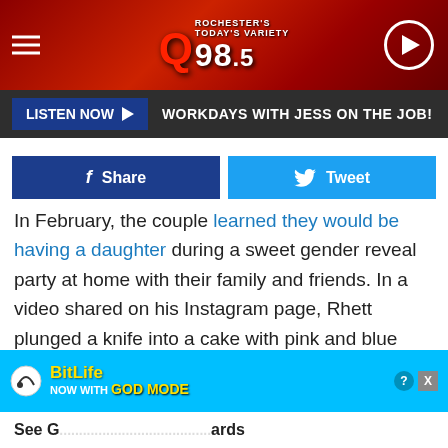[Figure (screenshot): Q98.5 radio station website header with logo, hamburger menu, and play button on dark red background]
[Figure (screenshot): Listen Now bar with dark background, blue Listen Now button with play arrow, and text WORKDAYS WITH JESS ON THE JOB!]
[Figure (screenshot): Social share buttons: dark blue Facebook Share button and light blue Twitter Tweet button]
In February, the couple learned they would be having a daughter during a sweet gender reveal party at home with their family and friends. In a video shared on his Instagram page, Rhett plunged a knife into a cake with pink and blue frosting. The color of the cake revealed the baby’s gender and after several dramatic seconds — the pink icing revealed the baby is a girl. The couple will welcome their first child this summer and are also in the process of adopting a baby from Africa.
[Figure (screenshot): BitLife advertisement banner with GOD MODE promotion on cyan background]
See G... ards